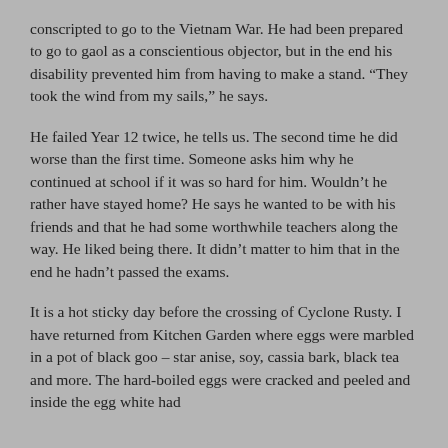conscripted to go to the Vietnam War. He had been prepared to go to gaol as a conscientious objector, but in the end his disability prevented him from having to make a stand. “They took the wind from my sails,” he says.
He failed Year 12 twice, he tells us. The second time he did worse than the first time. Someone asks him why he continued at school if it was so hard for him. Wouldn’t he rather have stayed home? He says he wanted to be with his friends and that he had some worthwhile teachers along the way. He liked being there. It didn’t matter to him that in the end he hadn’t passed the exams.
It is a hot sticky day before the crossing of Cyclone Rusty. I have returned from Kitchen Garden where eggs were marbled in a pot of black goo – star anise, soy, cassia bark, black tea and more. The hard-boiled eggs were cracked and peeled and inside the egg white had